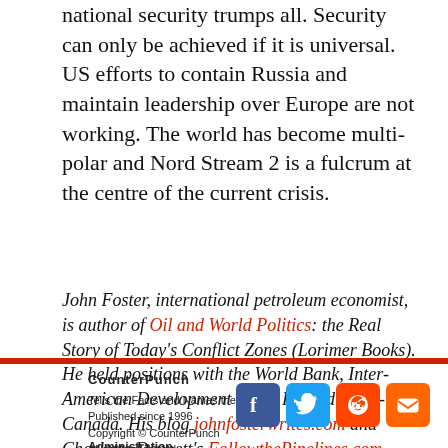national security trumps all. Security can only be achieved if it is universal. US efforts to contain Russia and maintain leadership over Europe are not working. The world has become multi-polar and Nord Stream 2 is a fulcrum at the centre of the current crisis.
John Foster, international petroleum economist, is author of Oil and World Politics: the Real Story of Today's Conflict Zones (Lorimer Books). He held positions with the World Bank, Inter-American Development Bank, BP and Petro-Canada. His blog johnfosterwrites.com and Charlotte Dennett's FollowthePipelines.com examine new issues.
CounterPunch
Tells the Facts and Names the Names
Published since 1996
Copyright © CounterPunch
All rights reserved.
counterpunch@counterpunch.org